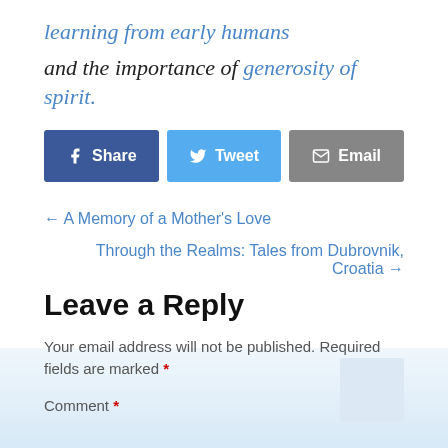learning from early humans
and the importance of generosity of spirit.
[Figure (other): Social share buttons: Share (Facebook, blue), Tweet (Twitter, light blue), Email (gray)]
← A Memory of a Mother's Love
Through the Realms: Tales from Dubrovnik, Croatia →
Leave a Reply
Your email address will not be published. Required fields are marked *
Comment *